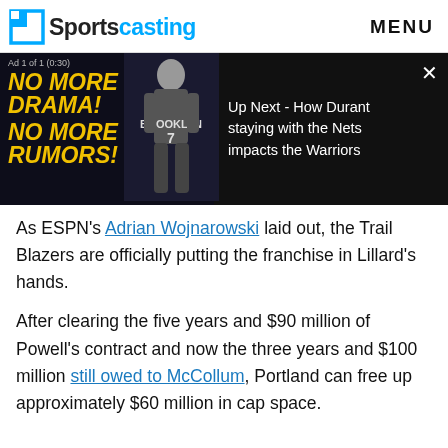Sportscasting | MENU
[Figure (screenshot): Ad banner: 'Ad 1 of 1 (0:30)' with yellow text 'NO MORE DRAMA! NO MORE RUMORS!' on dark background with Brooklyn Nets player Kevin Durant. Right side shows 'Up Next - How Durant staying with the Nets impacts the Warriors' with X close button.]
As ESPN's Adrian Wojnarowski laid out, the Trail Blazers are officially putting the franchise in Lillard's hands.
After clearing the five years and $90 million of Powell's contract and now the three years and $100 million still owed to McCollum, Portland can free up approximately $60 million in cap space.